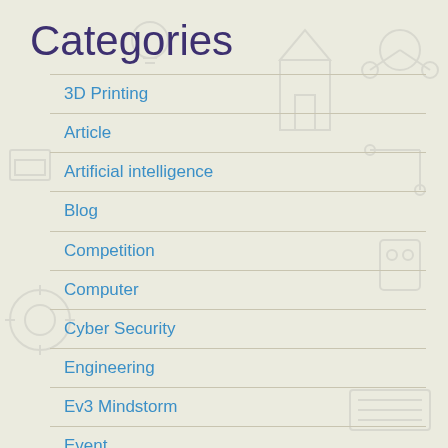Categories
3D Printing
Article
Artificial intelligence
Blog
Competition
Computer
Cyber Security
Engineering
Ev3 Mindstorm
Event
Flexi Class
Gadget
Giveaway
Hour of Code